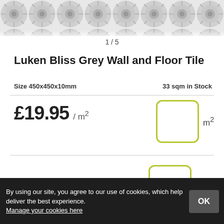[Figure (photo): Partial view of a grey daisy-patterned wall and floor tile at the top of the page]
1 / 5
Luken Bliss Grey Wall and Floor Tile
Size 450x450x10mm
33 sqm in Stock
£19.95  / m²
m²
Tiles
ADD TO BASKET
By using our site, you agree to our use of cookies, which help deliver the best experience.
Manage your cookies here
OK